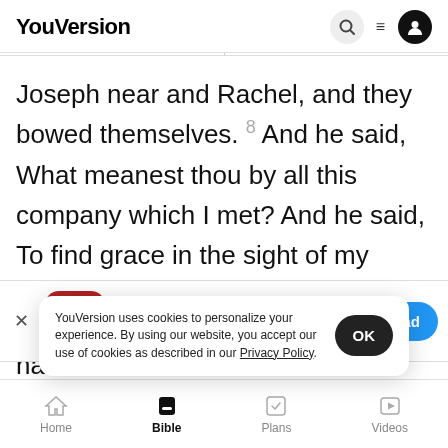YouVersion
Joseph near and Rachel, and they bowed themselves. 8 And he said, What meanest thou by all this company which I met? And he said, To find grace in the sight of my lord. 9 And Esau said. I
[Figure (screenshot): App download banner: Holy Bible app icon, The Bible App title, star rating 7.9M reviews, Download button]
have fo
present
[Figure (screenshot): Cookie consent overlay: YouVersion uses cookies to personalize your experience. By using our website, you accept our use of cookies as described in our Privacy Policy. OK button]
Home  Bible  Plans  Videos